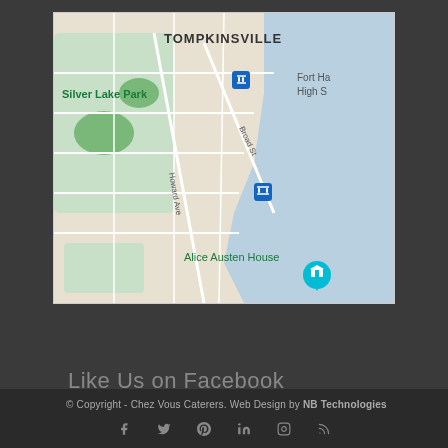[Figure (map): Google Maps screenshot showing Tompkinsville area of Staten Island, NY. Shows Silver Lake Park (green area), Howard Ave, Broad St, Alice Austen House with location pin, Fort Hamilton High School partially visible top right, water body (Upper New York Bay) on right, and two blue transit stop icons.]
Like Us on Facebook
© Copyright - Chez Vous Caterers. Web Design by NB Technologies